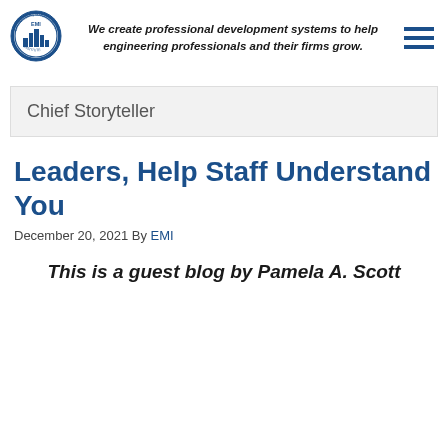[Figure (logo): EMI Engineering Management Institute circular logo with building/city graphic and text around the border]
We create professional development systems to help engineering professionals and their firms grow.
[Figure (other): Hamburger menu icon with three horizontal blue lines]
Chief Storyteller
Leaders, Help Staff Understand You
December 20, 2021 By EMI
This is a guest blog by Pamela A. Scott